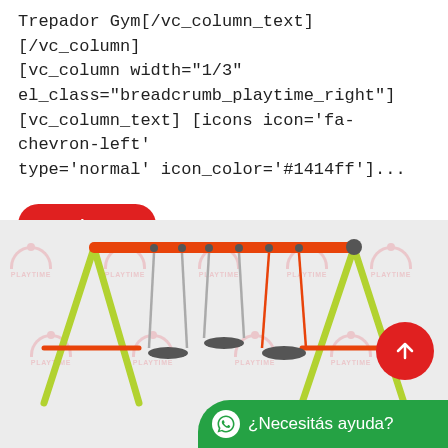Trepador Gym[/vc_column_text][/vc_column][vc_column width="1/3" el_class="breadcrumb_playtime_right"][vc_column_text] [icons icon='fa-chevron-left' type='normal' icon_color='#1414ff']...
Read More
[Figure (photo): A colorful children's swing set with yellow/green A-frame legs and an orange horizontal bar, with three swings hanging from it, on a light gray background with PLAYTIME watermarks. A red scroll-up button and a green WhatsApp help bar overlay the bottom right.]